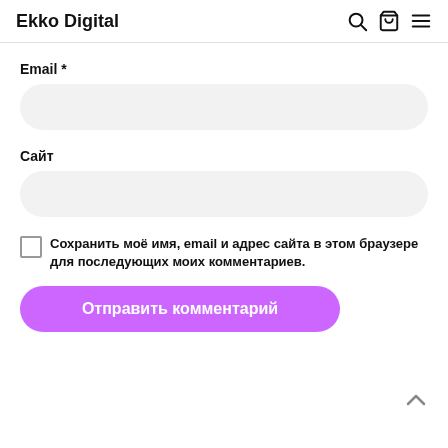Ekko Digital
Email *
Сайт
Сохранить моё имя, email и адрес сайта в этом браузере для последующих моих комментариев.
Отправить комментарий